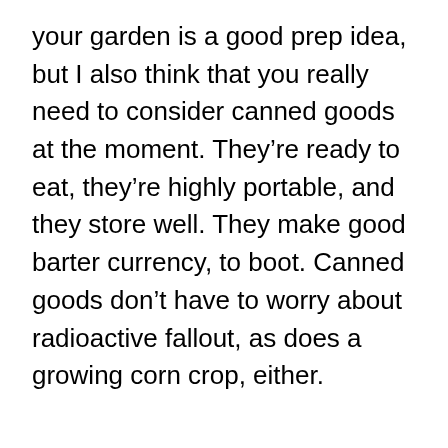your garden is a good prep idea, but I also think that you really need to consider canned goods at the moment. They're ready to eat, they're highly portable, and they store well. They make good barter currency, to boot. Canned goods don't have to worry about radioactive fallout, as does a growing corn crop, either.